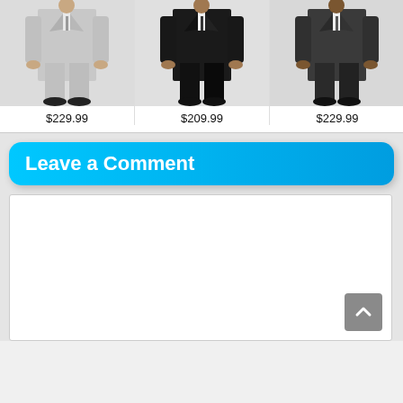[Figure (photo): Three men's suits displayed on models: light gray suit ($229.99), black suit ($209.99), dark charcoal suit ($229.99)]
$229.99
$209.99
$229.99
Leave a Comment
[Figure (screenshot): Empty comment text area input box with a scroll-to-top button in the bottom right corner]